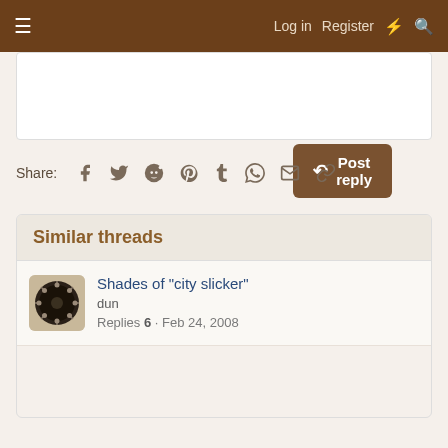Log in   Register
Post reply
Share:
Similar threads
Shades of "city slicker"
dun
Replies 6 · Feb 24, 2008